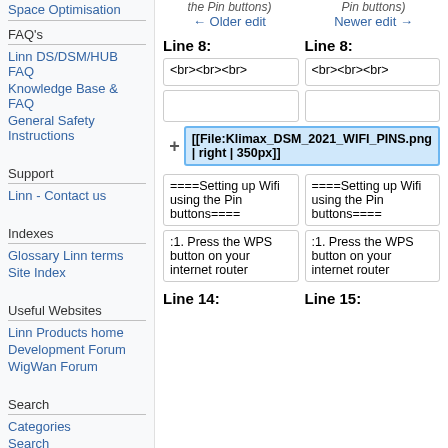Space Optimisation
FAQ's
Linn DS/DSM/HUB FAQ
Knowledge Base & FAQ
General Safety Instructions
Support
Linn - Contact us
Indexes
Glossary Linn terms
Site Index
Useful Websites
Linn Products home
Development Forum
WigWan Forum
Search
Categories
Search
the Pin buttons) ← Older edit
Pin buttons) Newer edit →
Line 8:
Line 8:
<br><br><br>
<br><br><br>
[[File:Klimax_DSM_2021_WIFI_PINS.png | right | 350px]]
====Setting up Wifi using the Pin buttons====
====Setting up Wifi using the Pin buttons====
:1. Press the WPS button on your internet router
:1. Press the WPS button on your internet router
Line 14:
Line 15: